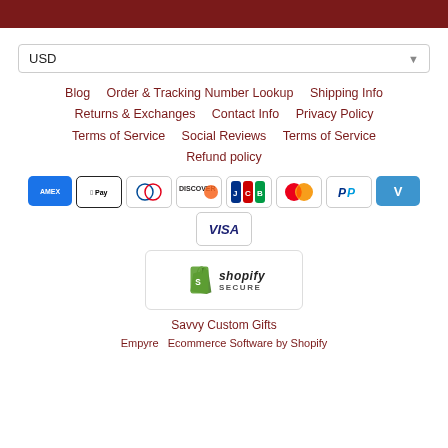USD
Blog
Order & Tracking Number Lookup
Shipping Info
Returns & Exchanges
Contact Info
Privacy Policy
Terms of Service
Social Reviews
Terms of Service
Refund policy
[Figure (other): Payment method icons: American Express, Apple Pay, Diners Club, Discover, JCB, Mastercard, PayPal, Venmo, Visa]
[Figure (logo): Shopify Secure badge with green shopping bag icon]
Savvy Custom Gifts
Empyre  Ecommerce Software by Shopify